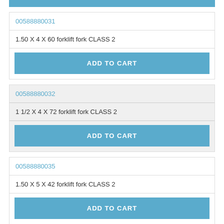00588880031
1.50 X 4 X 60 forklift fork CLASS 2
ADD TO CART
00588880032
1 1/2 X 4 X 72 forklift fork CLASS 2
ADD TO CART
00588880035
1.50 X 5 X 42 forklift fork CLASS 2
ADD TO CART
00588880036